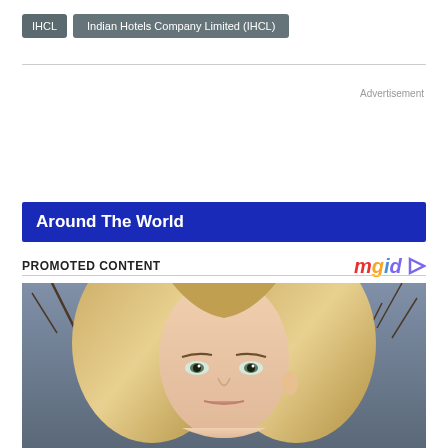IHCL
Indian Hotels Company Limited (IHCL)
Advertisement
Around The World
PROMOTED CONTENT
[Figure (logo): mgid logo with arrow icon]
[Figure (photo): Portrait photo of a young blonde woman with straight hair, looking directly at camera, with blurred bare tree branches in background]